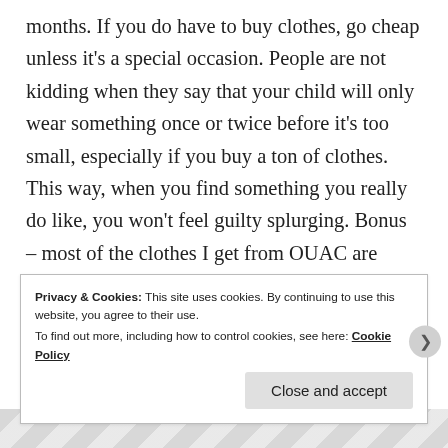months. If you do have to buy clothes, go cheap unless it's a special occasion. People are not kidding when they say that your child will only wear something once or twice before it's too small, especially if you buy a ton of clothes. This way, when you find something you really do like, you won't feel guilty splurging. Bonus – most of the clothes I get from OUAC are Children's Place, Gymboree, Ralph Lauren, GAP, Adidas, Oshkosh, or several other high end, expensive brands, and some still have the original tags on
Privacy & Cookies: This site uses cookies. By continuing to use this website, you agree to their use.
To find out more, including how to control cookies, see here: Cookie Policy